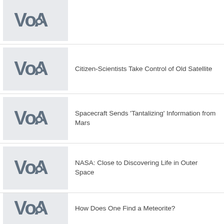[Figure (logo): VOA (Voice of America) logo on light gray background]
[Figure (logo): VOA (Voice of America) logo on light gray background]
Citizen-Scientists Take Control of Old Satellite
[Figure (logo): VOA (Voice of America) logo on light gray background]
Spacecraft Sends 'Tantalizing' Information from Mars
[Figure (logo): VOA (Voice of America) logo on light gray background]
NASA: Close to Discovering Life in Outer Space
[Figure (logo): VOA (Voice of America) logo on light gray background]
How Does One Find a Meteorite?